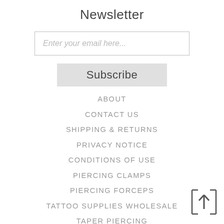Newsletter
[Figure (other): Email input text field with placeholder text 'Enter your email here...']
[Figure (other): Subscribe button]
ABOUT
CONTACT US
SHIPPING & RETURNS
PRIVACY NOTICE
CONDITIONS OF USE
PIERCING CLAMPS
PIERCING FORCEPS
TATTOO SUPPLIES WHOLESALE
TAPER PIERCING
PIERCING NEEDLES
UV TATTOO INK
TATTOO NEEDLES
[Figure (other): Back to top button with upward arrow inside a square bracket icon]